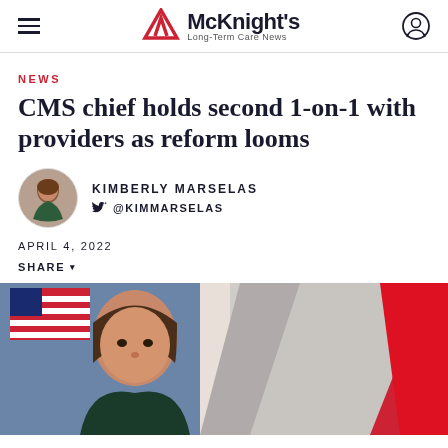McKnight's Long-Term Care News
NEWS
CMS chief holds second 1-on-1 with providers as reform looms
KIMBERLY MARSELAS
@KIMMARSELAS
APRIL 4, 2022
SHARE
[Figure (photo): Portrait photo of a woman with brown hair against a background with an American flag and red/gray geometric shapes]